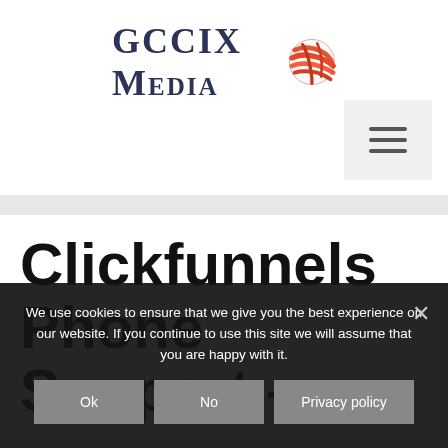[Figure (logo): GCCIX Media logo with globe icon — dark navy text 'GCCIX MEDIA' with red and orange striped globe sphere on the right]
[Figure (other): Hamburger menu button — three horizontal lines on a light gray background, positioned in upper right]
Clickfunnels Phone Support –
We use cookies to ensure that we give you the best experience on our website. If you continue to use this site we will assume that you are happy with it.
Ok  No  Privacy policy